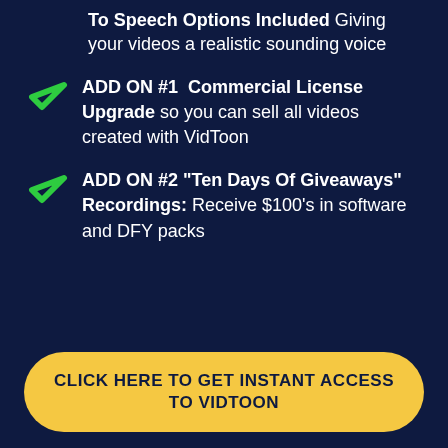To Speech Options Included Giving your videos a realistic sounding voice
ADD ON #1 Commercial License Upgrade so you can sell all videos created with VidToon
ADD ON #2 "Ten Days Of Giveaways" Recordings: Receive $100's in software and DFY packs
CLICK HERE TO GET INSTANT ACCESS TO VIDTOON